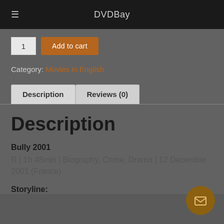DVDBay
1  Add to cart
Category: Movies in English
Description | Reviews (0)
Description
Bully 2001
R | 1h 48min | Biography, Crime, Drama | 12 December 2001 (France)
Storyline: